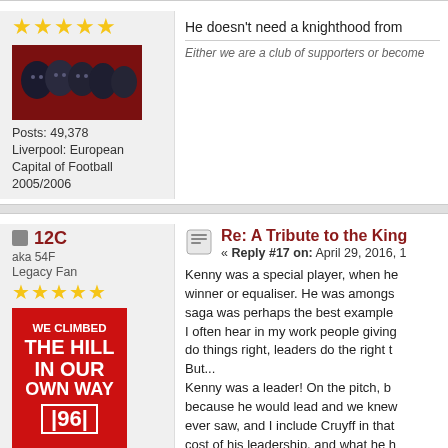[Figure (screenshot): Forum post with 5-star rating, avatar image of faces on red background, post count 49,378, location Liverpool: European Capital of Football 2005/2006. Post text begins: He doesn't need a knighthood from... and Either we are a club of supporters or become...]
Posts: 49,378
Liverpool: European Capital of Football 2005/2006
He doesn't need a knighthood from
Either we are a club of supporters or become
12C
aka 54F
Legacy Fan
Re: A Tribute to the King
« Reply #17 on: April 29, 2016, 1
Posts: 11,665
"The Ribbons are Red"
Kenny was a special player, when he winner or equaliser. He was amongs saga was perhaps the best example I often hear in my work people giving do things right, leaders do the right t But...
Kenny was a leader! On the pitch, b because he would lead and we knew ever saw, and I include Cruyff in that cost of his leadership, and what he h are scumbags with knighthoods like